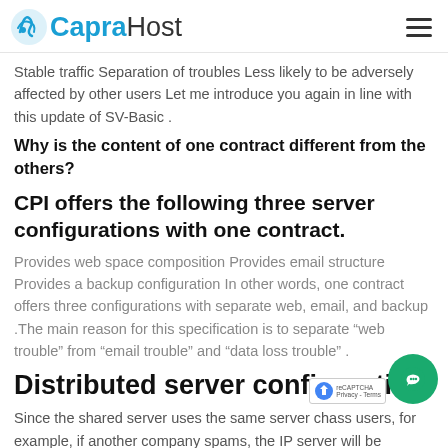CapraHost
Stable traffic Separation of troubles Less likely to be adversely affected by other users Let me introduce you again in line with this update of SV-Basic .
Why is the content of one contract different from the others?
CPI offers the following three server configurations with one contract.
Provides web space composition Provides email structure Provides a backup configuration In other words, one contract offers three configurations with separate web, email, and backup .The main reason for this specification is to separate “web trouble” from “email trouble” and “data loss trouble” .
Distributed server configuration
Since the shared server uses the same server chass... users, for example, if another company spams, the IP... server will be registered in the DNS blacklist. If this happens